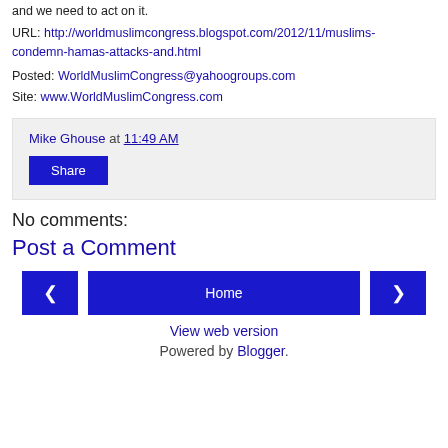and we need to act on it.
URL: http://worldmuslimcongress.blogspot.com/2012/11/muslims-condemn-hamas-attacks-and.html
Posted: WorldMuslimCongress@yahoogroups.com
Site: www.WorldMuslimCongress.com
Mike Ghouse at 11:49 AM
Share
No comments:
Post a Comment
Home
View web version
Powered by Blogger.